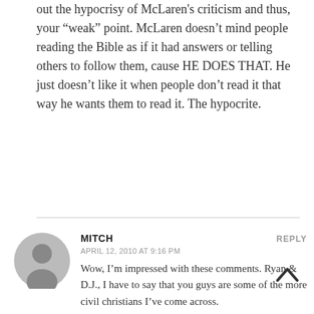out the hypocrisy of McLaren's criticism and thus, your "weak" point. McLaren doesn't mind people reading the Bible as if it had answers or telling others to follow them, cause HE DOES THAT. He just doesn't like it when people don't read it that way he wants them to read it. The hypocrite.
MITCH
REPLY
APRIL 12, 2010 AT 9:16 PM
Wow, I'm impressed with these comments. Ryan & D.J., I have to say that you guys are some of the more civil christians I've come across.
Now, Charlie, I'm not sure what to make of